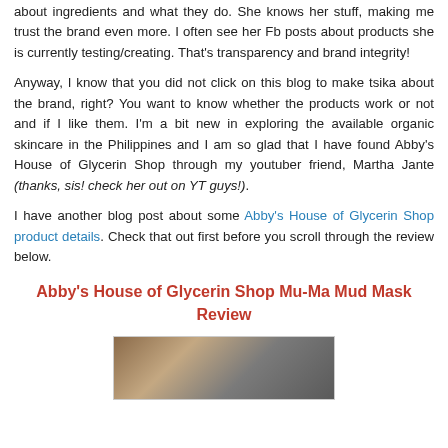about ingredients and what they do. She knows her stuff, making me trust the brand even more. I often see her Fb posts about products she is currently testing/creating. That's transparency and brand integrity!
Anyway, I know that you did not click on this blog to make tsika about the brand, right? You want to know whether the products work or not and if I like them. I'm a bit new in exploring the available organic skincare in the Philippines and I am so glad that I have found Abby's House of Glycerin Shop through my youtuber friend, Martha Jante (thanks, sis! check her out on YT guys!).
I have another blog post about some Abby's House of Glycerin Shop product details. Check that out first before you scroll through the review below.
Abby's House of Glycerin Shop Mu-Ma Mud Mask Review
[Figure (photo): Photo of a person's face, partial view, appears to be a product review image]